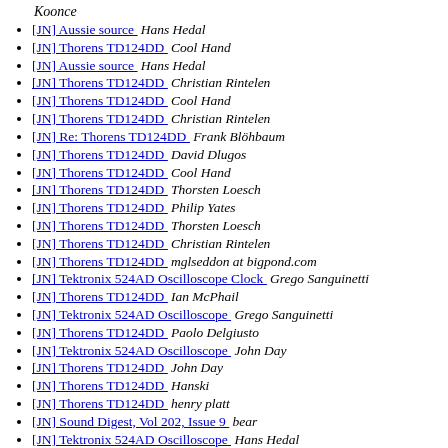Koonce
[JN] Aussie source  Hans Hedal
[JN] Thorens TD124DD  Cool Hand
[JN] Aussie source  Hans Hedal
[JN] Thorens TD124DD  Christian Rintelen
[JN] Thorens TD124DD  Cool Hand
[JN] Thorens TD124DD  Christian Rintelen
[JN] Re: Thorens TD124DD  Frank Blöhbaum
[JN] Thorens TD124DD  David Dlugos
[JN] Thorens TD124DD  Cool Hand
[JN] Thorens TD124DD  Thorsten Loesch
[JN] Thorens TD124DD  Philip Yates
[JN] Thorens TD124DD  Thorsten Loesch
[JN] Thorens TD124DD  Christian Rintelen
[JN] Thorens TD124DD  mglseddon at bigpond.com
[JN] Tektronix 524AD Oscilloscope Clock  Grego Sanguinetti
[JN] Thorens TD124DD  Ian McPhail
[JN] Tektronix 524AD Oscilloscope  Grego Sanguinetti
[JN] Thorens TD124DD  Paolo Delgiusto
[JN] Tektronix 524AD Oscilloscope  John Day
[JN] Thorens TD124DD  John Day
[JN] Thorens TD124DD  Hanski
[JN] Thorens TD124DD  henry platt
[JN] Sound Digest, Vol 202, Issue 9  bear
[JN] Tektronix 524AD Oscilloscope  Hans Hedal